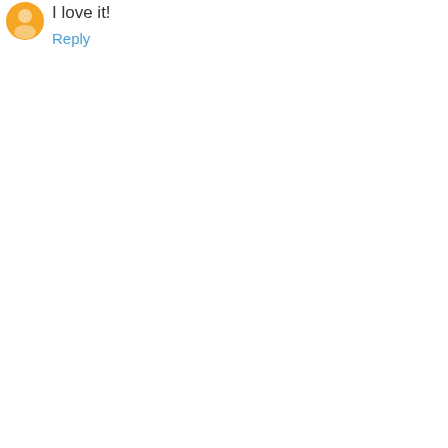[Figure (illustration): Orange circular avatar icon partially visible at top-left]
I love it!
Reply